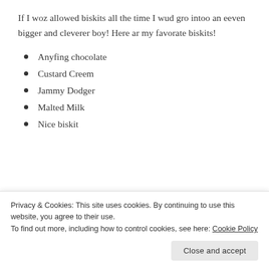If I woz allowed biskits all the time I wud gro intoo an eeven bigger and cleverer boy! Here ar my favorate biskits!
Anyfing chocolate
Custard Creem
Jammy Dodger
Malted Milk
Nice biskit
[Figure (photo): Partial image of a dark background with a pink/red rectangular element and a white circle, appearing to be a blog or website header image]
Privacy & Cookies: This site uses cookies. By continuing to use this website, you agree to their use.
To find out more, including how to control cookies, see here: Cookie Policy